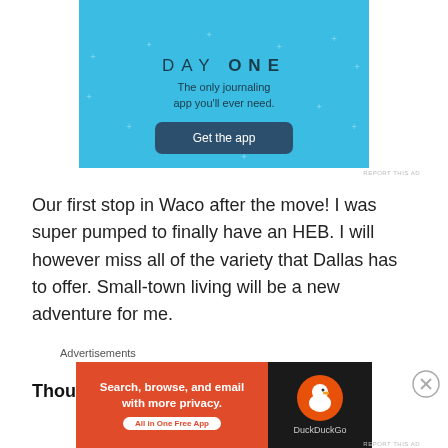[Figure (screenshot): Day One journaling app advertisement on light blue background with star decorations. Shows 'DAY ONE' title text and subtitle 'The only journaling app you'll ever need.' with a 'Get the app' dark blue button.]
Our first stop in Waco after the move! I was super pumped to finally have an HEB. I will however miss all of the variety that Dallas has to offer. Small-town living will be a new adventure for me.
Thoughts from the move:
[Figure (screenshot): DuckDuckGo advertisement banner. Left side orange with text 'Search, browse, and email with more privacy. All in One Free App'. Right side black with DuckDuckGo duck logo and 'DuckDuckGo' label.]